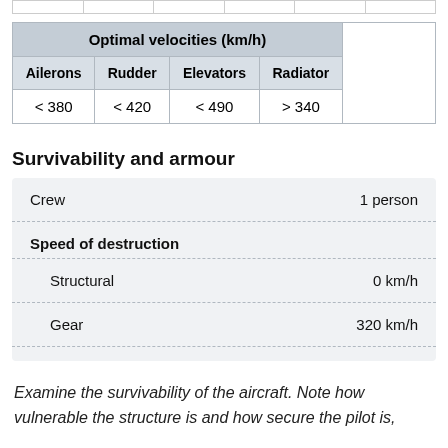| Optimal velocities (km/h) |  |  |  |  |
| --- | --- | --- | --- | --- |
| Ailerons | Rudder | Elevators | Radiator |  |
| < 380 | < 420 | < 490 | > 340 |  |
Survivability and armour
|  |  |
| --- | --- |
| Crew | 1 person |
| Speed of destruction |  |
| Structural | 0 km/h |
| Gear | 320 km/h |
Examine the survivability of the aircraft. Note how vulnerable the structure is and how secure the pilot is,